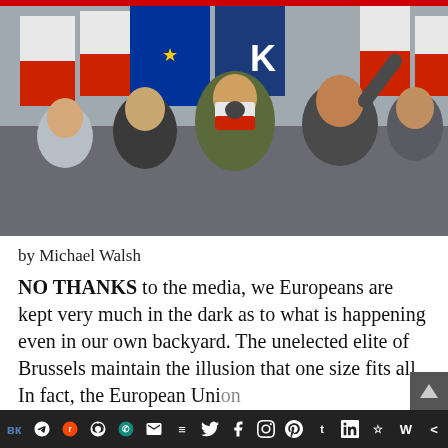[Figure (photo): Crowd of people at a political rally or march, holding red-white Polish flags and blue EU flags. Several men visible, one in the center wearing a camouflage jacket and a bandana/scarf covering his face featuring an eagle emblem.]
by Michael Walsh
NO THANKS to the media, we Europeans are kept very much in the dark as to what is happening even in our own backyard. The unelected elite of Brussels maintain the illusion that one size fits all. In fact, the European Union
VK  Telegram  Reddit  WordPress  WhatsApp  Email  Buffer  Twitter  Facebook  Instagram  Pinterest  Tumblr  LinkedIn  Share  Wiser  Share